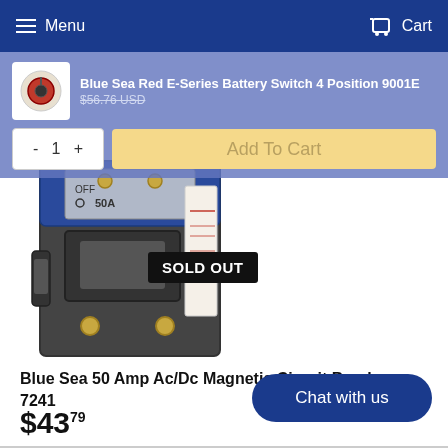Menu  Cart
Blue Sea Red E-Series Battery Switch 4 Position 9001E
$56.76 USD
1  Add To Cart
[Figure (photo): Blue Sea 50 Amp Ac/Dc Magnetic Circuit Breaker 7241 product photo with SOLD OUT overlay badge]
Blue Sea 50 Amp Ac/Dc Magnetic Circuit Breaker 7241
$43.79
Chat with us